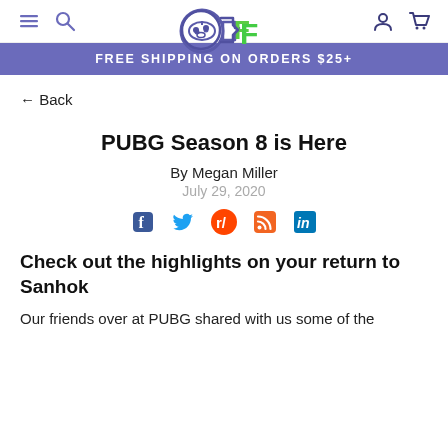FREE SHIPPING ON ORDERS $25+
← Back
PUBG Season 8 is Here
By Megan Miller
July 29, 2020
[Figure (other): Social share icons: Facebook, Twitter, Reddit, RSS, LinkedIn]
Check out the highlights on your return to Sanhok
Our friends over at PUBG shared with us some of the